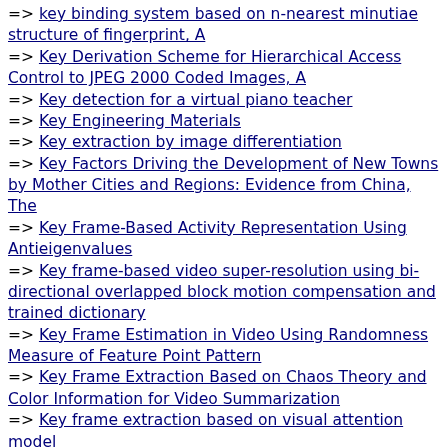=> key binding system based on n-nearest minutiae structure of fingerprint, A
=> Key Derivation Scheme for Hierarchical Access Control to JPEG 2000 Coded Images, A
=> Key detection for a virtual piano teacher
=> Key Engineering Materials
=> Key extraction by image differentiation
=> Key Factors Driving the Development of New Towns by Mother Cities and Regions: Evidence from China, The
=> Key Frame-Based Activity Representation Using Antieigenvalues
=> Key frame-based video super-resolution using bi-directional overlapped block motion compensation and trained dictionary
=> Key Frame Estimation in Video Using Randomness Measure of Feature Point Pattern
=> Key Frame Extraction Based on Chaos Theory and Color Information for Video Summarization
=> Key frame extraction based on visual attention model
=> Key frame extraction for salient activity recognition
=> Key frame extraction for video summarization using local description and repeatability graph clustering
=> Key frame extraction from consumer videos using epitome
=> Key frame extraction from consumer videos using sparse